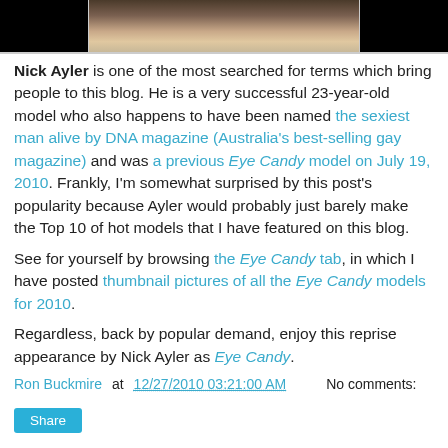[Figure (photo): Cropped photo of a person's neck/chin area, black and white, partially visible at top of page]
Nick Ayler is one of the most searched for terms which bring people to this blog. He is a very successful 23-year-old model who also happens to have been named the sexiest man alive by DNA magazine (Australia's best-selling gay magazine) and was a previous Eye Candy model on July 19, 2010. Frankly, I'm somewhat surprised by this post's popularity because Ayler would probably just barely make the Top 10 of hot models that I have featured on this blog.
See for yourself by browsing the Eye Candy tab, in which I have posted thumbnail pictures of all the Eye Candy models for 2010.
Regardless, back by popular demand, enjoy this reprise appearance by Nick Ayler as Eye Candy.
Ron Buckmire at 12/27/2010 03:21:00 AM   No comments:
Share